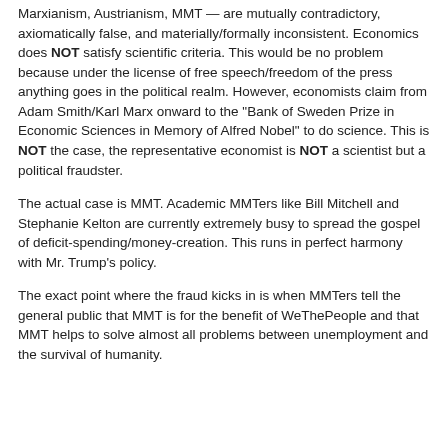Marxianism, Austrianism, MMT — are mutually contradictory, axiomatically false, and materially/formally inconsistent. Economics does NOT satisfy scientific criteria. This would be no problem because under the license of free speech/freedom of the press anything goes in the political realm. However, economists claim from Adam Smith/Karl Marx onward to the "Bank of Sweden Prize in Economic Sciences in Memory of Alfred Nobel" to do science. This is NOT the case, the representative economist is NOT a scientist but a political fraudster.
The actual case is MMT. Academic MMTers like Bill Mitchell and Stephanie Kelton are currently extremely busy to spread the gospel of deficit-spending/money-creation. This runs in perfect harmony with Mr. Trump's policy.
The exact point where the fraud kicks in is when MMTers tell the general public that MMT is for the benefit of WeThePeople and that MMT helps to solve almost all problems between unemployment and the survival of humanity.